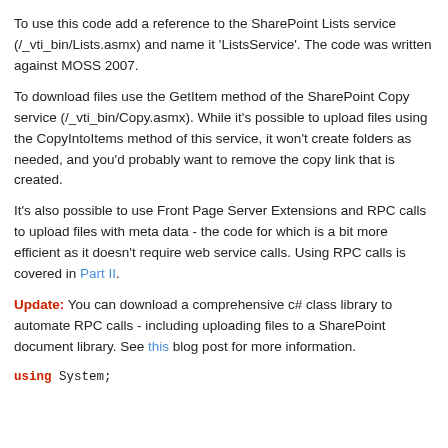To use this code add a reference to the SharePoint Lists service (/_vti_bin/Lists.asmx) and name it 'ListsService'. The code was written against MOSS 2007.
To download files use the GetItem method of the SharePoint Copy service (/_vti_bin/Copy.asmx). While it's possible to upload files using the CopyIntoItems method of this service, it won't create folders as needed, and you'd probably want to remove the copy link that is created.
It's also possible to use Front Page Server Extensions and RPC calls to upload files with meta data - the code for which is a bit more efficient as it doesn't require web service calls. Using RPC calls is covered in Part II.
Update: You can download a comprehensive c# class library to automate RPC calls - including uploading files to a SharePoint document library. See this blog post for more information.
using System;